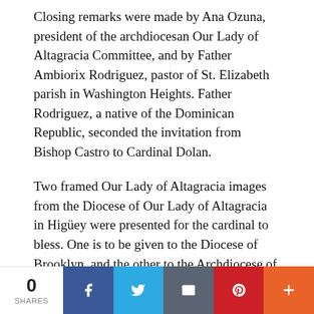Closing remarks were made by Ana Ozuna, president of the archdiocesan Our Lady of Altagracia Committee, and by Father Ambiorix Rodriguez, pastor of St. Elizabeth parish in Washington Heights. Father Rodriguez, a native of the Dominican Republic, seconded the invitation from Bishop Castro to Cardinal Dolan.
Two framed Our Lady of Altagracia images from the Diocese of Our Lady of Altagracia in Higüey were presented for the cardinal to bless. One is to be given to the Diocese of Brooklyn, and the other to the Archdiocese of Hartford.
Our Lady of Altagracia is a portrait of the Virgin Mary in a Nativity scene painted circa 1500 and kept in a basilica in Higüey. Her feast day is Jan. 21.
[Figure (infographic): Social share bar with share count (0 SHARES) and buttons for Facebook, Twitter, Email, Pinterest, and More (+)]